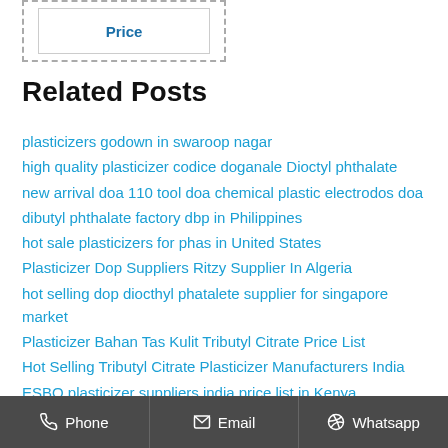[Figure (other): Dashed border box containing an inner box with bold blue 'Price' label]
Related Posts
plasticizers godown in swaroop nagar
high quality plasticizer codice doganale Dioctyl phthalate
new arrival doa 110 tool doa chemical plastic electrodos doa
dibutyl phthalate factory dbp in Philippines
hot sale plasticizers for phas in United States
Plasticizer Dop Suppliers Ritzy Supplier In Algeria
hot selling dop diocthyl phatalete supplier for singapore market
Plasticizer Bahan Tas Kulit Tributyl Citrate Price List
Hot Selling Tributyl Citrate Plasticizer Manufacturers India
ESBO plasticizer suppliers india price list in Kenya
Industrial Grade Plasticizer Manufacturer Dioctyl Sebacate
Manufacturers Of Plasticizers Cost In Argentina
Phone  Email  Whatsapp